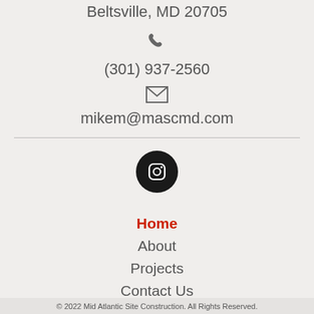Beltsville, MD 20705
[Figure (illustration): Phone icon (handset silhouette)]
(301) 937-2560
[Figure (illustration): Envelope/mail icon]
mikem@mascmd.com
[Figure (illustration): Instagram icon in black circle]
Home
About
Projects
Contact Us
© 2022 Mid Atlantic Site Construction. All Rights Reserved.